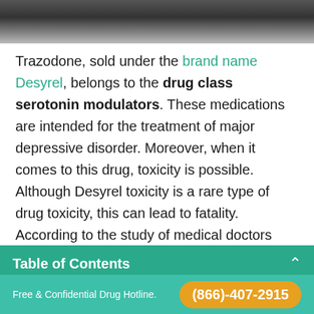[Figure (photo): Blurred header photo bar at top of page]
Trazodone, sold under the brand name Desyrel, belongs to the drug class serotonin modulators. These medications are intended for the treatment of major depressive disorder. Moreover, when it comes to this drug, toxicity is possible. Although Desyrel toxicity is a rare type of drug toxicity, this can lead to fatality. According to the study of medical doctors from the USA, 9 out of 88 patients who overdosed
Table of Contents
people take it with alcohol. Furthermore, this
Free & Confidential Drug Hotline. (866)-407-2915